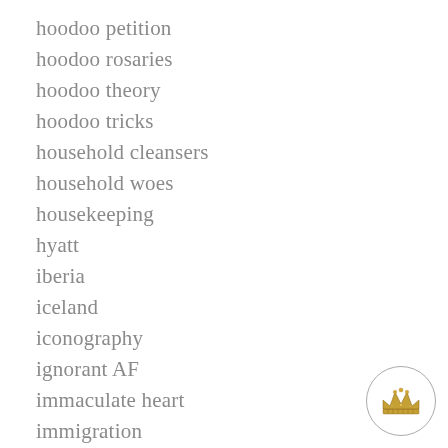hoodoo petition
hoodoo rosaries
hoodoo theory
hoodoo tricks
household cleansers
household woes
housekeeping
hyatt
iberia
iceland
iconography
ignorant AF
immaculate heart
immigration
[Figure (illustration): A small crown illustration inside a circle, positioned in the bottom-right corner]